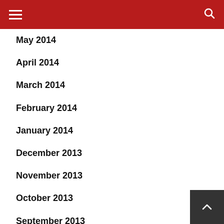Navigation header with hamburger menu and search icon
May 2014
April 2014
March 2014
February 2014
January 2014
December 2013
November 2013
October 2013
September 2013
August 2013
July 2013
June 2013
May 2013
April 2013